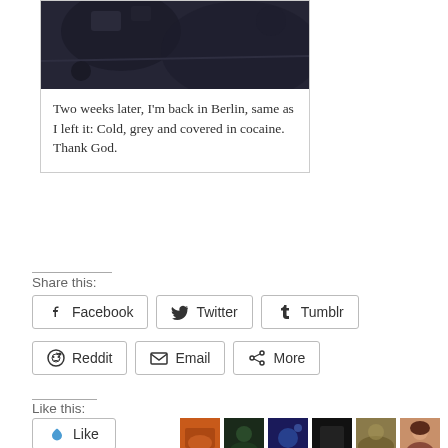[Figure (photo): Dark atmospheric image, appears to be a night scene]
Two weeks later, I'm back in Berlin, same as I left it: Cold, grey and covered in cocaine. Thank God.
Share this:
Facebook
Twitter
Tumblr
Reddit
Email
More
Like this:
Like
[Figure (photo): Six small avatar/thumbnail images in a row]